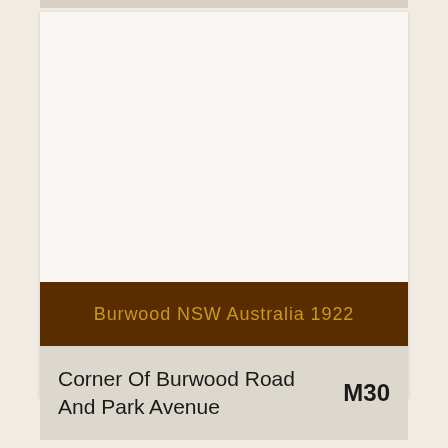[Figure (photo): White/blank photo area representing a historical photograph placeholder for Burwood NSW Australia 1922]
Burwood NSW Australia 1922
Corner Of Burwood Road And Park Avenue
M30